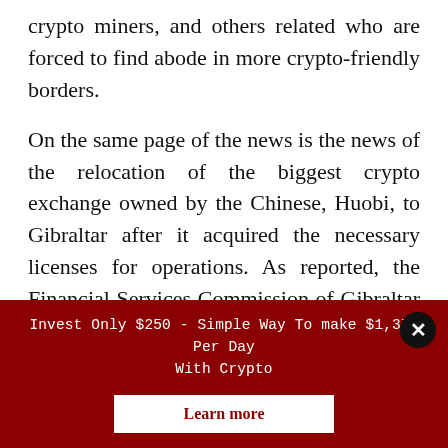crypto miners, and others related who are forced to find abode in more crypto-friendly borders.
On the same page of the news is the news of the relocation of the biggest crypto exchange owned by the Chinese, Huobi, to Gibraltar after it acquired the necessary licenses for operations. As reported, the Financial Services Commission of Gibraltar has authorized
Invest Only $250 - Simple Way To make $1,372 Per Day With Crypto
Learn more